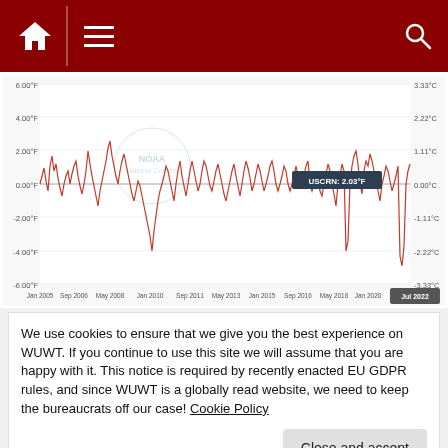WUWT navigation bar with home icon, menu icon, and search icon
[Figure (continuous-plot): USCRN temperature anomaly line chart from Jan 2005 to Jul 2022, showing monthly temperature anomalies in degrees F and degrees C. Red line fluctuating between approximately -6°F and +6°F. A tooltip shows USCRN: 2.03°F. X-axis labels: Jan 2005, Sep 2006, May 2008, Jan 2010, Sep 2011, May 2013, Jan 2015, Sep 2016, May 2018, Jan 2020, Jul 2022. Y-axis left: -6.00°F to 6.00°F. Y-axis right: -3.33°C to 3.33°C.]
We use cookies to ensure that we give you the best experience on WUWT. If you continue to use this site we will assume that you are happy with it. This notice is required by recently enacted EU GDPR rules, and since WUWT is a globally read website, we need to keep the bureaucrats off our case! Cookie Policy
Close and accept
Imposes Strict Winter Rationing on